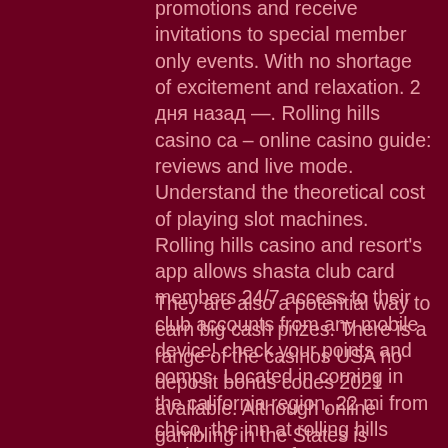promotions and receive invitations to special member only events. With no shortage of excitement and relaxation. 2 дня назад —. Rolling hills casino ca – online casino guide: reviews and live mode. Understand the theoretical cost of playing slot machines. Rolling hills casino and resort's app allows shasta club card members 24/7 access to their club accounts from any mobile device! check your points and comps. Located in corning in the california region, 22 mi from chico, the inn at rolling hills casino &amp; resort features an outdoor pool and hot tub
[Figure (other): Hamburger menu icon button (three horizontal lines) on a pink/rose background square, overlaid on the text]
They are also a potential way to earn big cash prizes. There is a range of the casinos USA no deposit bonus codes 2021 available. Although online gambling in the States is limited, customers still have a range of options to choose from. The main advantage of no deposit bonuses is that player do not need to pay any cent to start playing, rolling